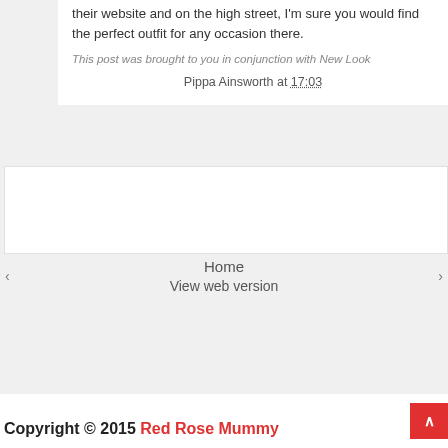their website and on the high street, I'm sure you would find the perfect outfit for any occasion there.
This post was brought to you in conjunction with New Look
Pippa Ainsworth at 17:03
[Figure (other): Advertisement box area]
Home
View web version
Copyright © 2015 Red Rose Mummy